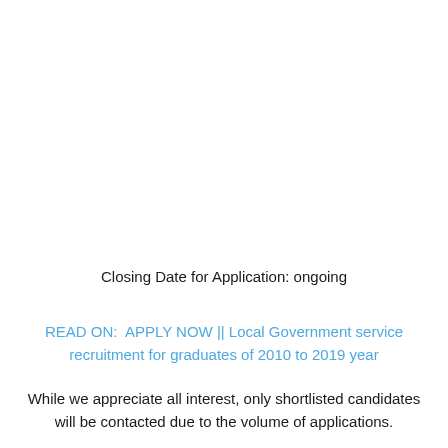Closing Date for Application: ongoing
READ ON:  APPLY NOW || Local Government service recruitment for graduates of 2010 to 2019 year
While we appreciate all interest, only shortlisted candidates will be contacted due to the volume of applications.